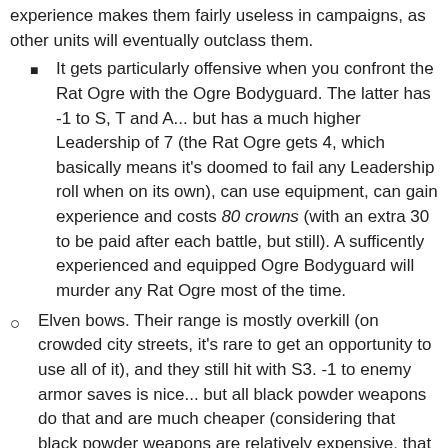experience makes them fairly useless in campaigns, as other units will eventually outclass them.
It gets particularly offensive when you confront the Rat Ogre with the Ogre Bodyguard. The latter has -1 to S, T and A... but has a much higher Leadership of 7 (the Rat Ogre gets 4, which basically means it's doomed to fail any Leadership roll when on its own), can use equipment, can gain experience and costs 80 crowns (with an extra 30 to be paid after each battle, but still). A sufficently experienced and equipped Ogre Bodyguard will murder any Rat Ogre most of the time.
Elven bows. Their range is mostly overkill (on crowded city streets, it's rare to get an opportunity to use all of it), and they still hit with S3. -1 to enemy armor saves is nice... but all black powder weapons do that and are much cheaper (considering that black powder weapons are relatively expensive, that says a lot about how much the Elven bow costs).